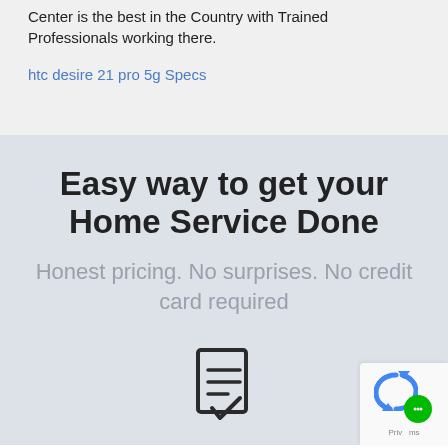Center is the best in the Country with Trained Professionals working there.
htc desire 21 pro 5g Specs
Easy way to get your Home Service Done
Honest pricing. No surprises. No credit card required
[Figure (illustration): Document/checklist icon with lines and a checkmark at the bottom, shown in dark outline style]